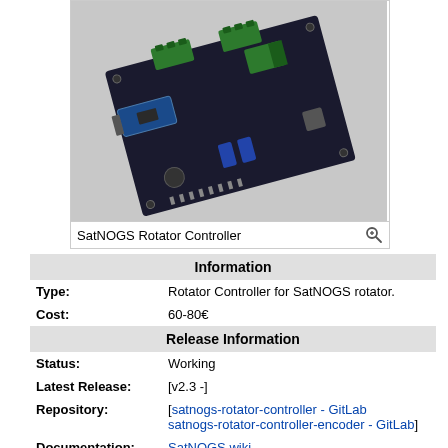[Figure (photo): Photo of SatNOGS Rotator Controller circuit board with green terminal blocks, blue USB port, and Arduino-style microcontroller on a black PCB]
SatNOGS Rotator Controller
| Information |
| --- |
| Type: | Rotator Controller for SatNOGS rotator. |
| Cost: | 60-80€ |
| Release Information |  |
| Status: | Working |
| Latest Release: | [v2.3 -] |
| Repository: | [satnogs-rotator-controller - GitLab satnogs-rotator-controller-encoder - GitLab] |
| Documentation: | SatNOGS wiki |